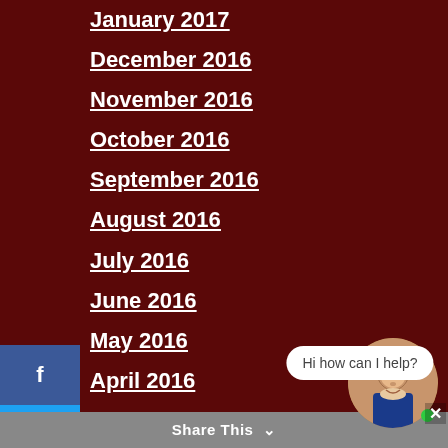January 2017
December 2016
November 2016
October 2016
September 2016
August 2016
July 2016
June 2016
May 2016
April 2016
March 2016
February 2016
January 2016
December 2015
Hi how can I help?
Share This